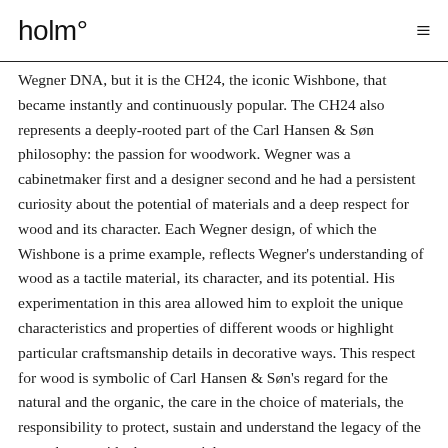holm° ≡
Wegner DNA, but it is the CH24, the iconic Wishbone, that became instantly and continuously popular. The CH24 also represents a deeply-rooted part of the Carl Hansen & Søn philosophy: the passion for woodwork. Wegner was a cabinetmaker first and a designer second and he had a persistent curiosity about the potential of materials and a deep respect for wood and its character. Each Wegner design, of which the Wishbone is a prime example, reflects Wegner's understanding of wood as a tactile material, its character, and its potential. His experimentation in this area allowed him to exploit the unique characteristics and properties of different woods or highlight particular craftsmanship details in decorative ways. This respect for wood is symbolic of Carl Hansen & Søn's regard for the natural and the organic, the care in the choice of materials, the responsibility to protect, sustain and understand the legacy of the trees that provide those materials.